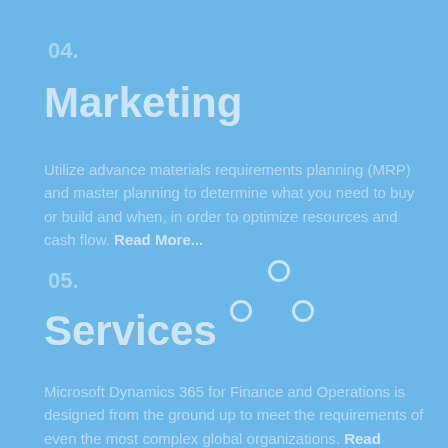04.
Marketing
Utilize advance materials requirements planning (MRP) and master planning to determine what you need to buy or build and when, in order to optimize resources and cash flow. Read More...
[Figure (other): Three small circular outline dots arranged in a triangle pattern on the blue background]
05.
Services
Microsoft Dynamics 365 for Finance and Operations is designed from the ground up to meet the requirements of even the most complex global organizations. Read More...